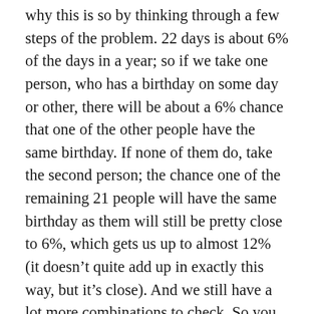why this is so by thinking through a few steps of the problem. 22 days is about 6% of the days in a year; so if we take one person, who has a birthday on some day or other, there will be about a 6% chance that one of the other people have the same birthday. If none of them do, take the second person; the chance one of the remaining 21 people will have the same birthday as them will still be pretty close to 6%, which gets us up to almost 12% (it doesn't quite add up in exactly this way, but it's close). And we still have a lot more combinations to check. So you can already start to see that how easy it will turn out to be to get up to 50%. In any case, the basic point is that the “coincidence” is not important; each person has a birthday, and we can treat that day as fixed while we compare it